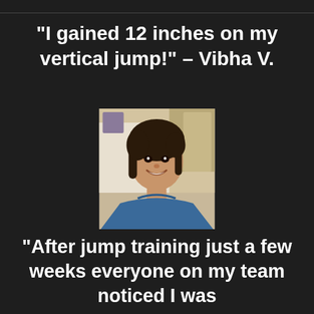“I gained 12 inches on my vertical jump!” – Vibha V.
[Figure (photo): Smiling young woman with dark hair wearing a blue shirt, indoor setting]
[Figure (photo): Smiling young woman with light hair wearing an orange/red shirt, indoor setting]
“After jump training just a few weeks everyone on my team noticed I was